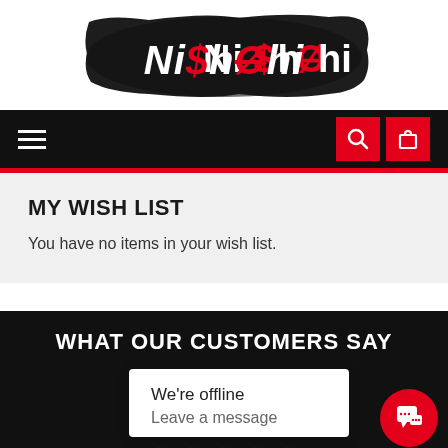[Figure (logo): Ni$hØhi brand logo — white stylized text on black brushstroke background, with red dollar sign and crossed-O characters]
[Figure (screenshot): Black navigation bar with hamburger menu on left and two red icon buttons (search and shopping bag) on right]
MY WISH LIST
You have no items in your wish list.
WHAT OUR CUSTOMERS SAY
[Figure (screenshot): Chat widget popup showing 'We're offline' and 'Leave a message' with red circular chat button and partial star rating row]